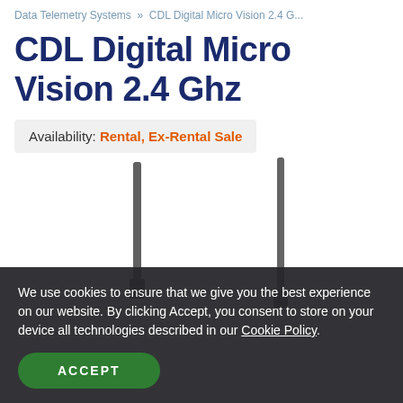Data Telemetry Systems » CDL Digital Micro Vision 2.4 G...
CDL Digital Micro Vision 2.4 Ghz
Availability: Rental, Ex-Rental Sale
[Figure (photo): Product photo showing CDL Digital Micro Vision 2.4 Ghz telemetry system with two vertical antennas and a dark electronic device unit]
We use cookies to ensure that we give you the best experience on our website. By clicking Accept, you consent to store on your device all technologies described in our Cookie Policy.
ACCEPT